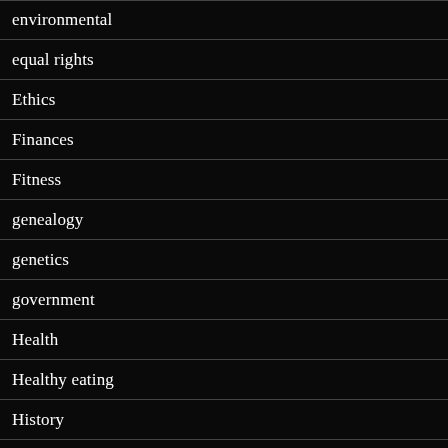environmental
equal rights
Ethics
Finances
Fitness
genealogy
genetics
government
Health
Healthy eating
History
human rights